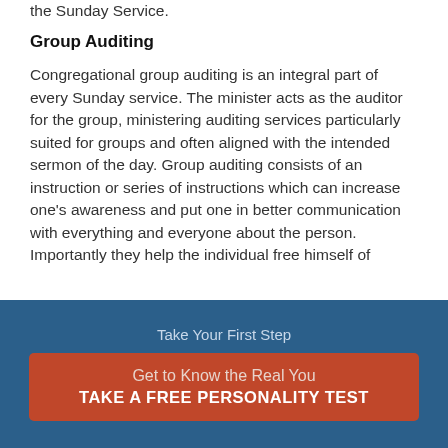the Sunday Service.
Group Auditing
Congregational group auditing is an integral part of every Sunday service. The minister acts as the auditor for the group, ministering auditing services particularly suited for groups and often aligned with the intended sermon of the day. Group auditing consists of an instruction or series of instructions which can increase one's awareness and put one in better communication with everything and everyone about the person. Importantly they help the individual free himself of
Take Your First Step
Get to Know the Real You
TAKE A FREE PERSONALITY TEST